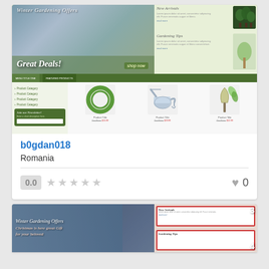[Figure (screenshot): Screenshot of a gardening e-commerce website with winter gardening offers, featuring a banner with 'Great Deals!', product listings including a garden hose, watering can, and trowel, plus a newsletter signup sidebar]
b0gdan018
Romania
0.0
0
[Figure (screenshot): Partial screenshot of another gardening website with Christmas/winter theme, showing 'Winter Gardening Offers' and 'Christmas is here great Gift for your beloved' with numbered sections for 'New Arrivals' and 'Gardening Tips']